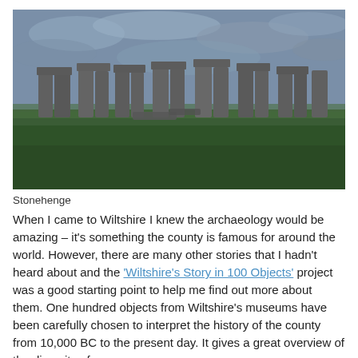[Figure (photo): Photograph of Stonehenge with large standing stones arranged in a circle on a green grass field under a cloudy grey sky]
Stonehenge
When I came to Wiltshire I knew the archaeology would be amazing – it's something the county is famous for around the world. However, there are many other stories that I hadn't heard about and the 'Wiltshire's Story in 100 Objects' project was a good starting point to help me find out more about them. One hundred objects from Wiltshire's museums have been carefully chosen to interpret the history of the county from 10,000 BC to the present day. It gives a great overview of the diversity of